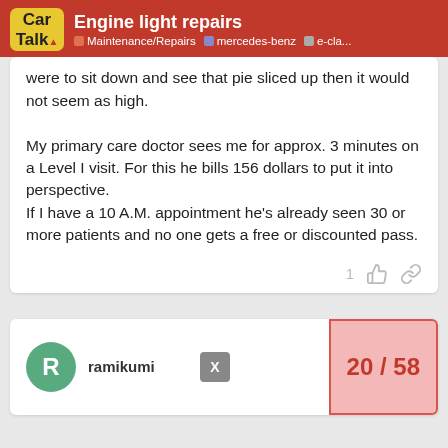Engine light repairs | Maintenance/Repairs | mercedes-benz | e-cla...
were to sit down and see that pie sliced up then it would not seem as high.

My primary care doctor sees me for approx. 3 minutes on a Level I visit. For this he bills 156 dollars to put it into perspective.
If I have a 10 A.M. appointment he's already seen 30 or more patients and no one gets a free or discounted pass.
ramikumi
20 / 58